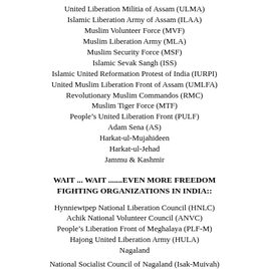United Liberation Militia of Assam (ULMA)
Islamic Liberation Army of Assam (ILAA)
Muslim Volunteer Force (MVF)
Muslim Liberation Army (MLA)
Muslim Security Force (MSF)
Islamic Sevak Sangh (ISS)
Islamic United Reformation Protest of India (IURPI)
United Muslim Liberation Front of Assam (UMLFA)
Revolutionary Muslim Commandos (RMC)
Muslim Tiger Force (MTF)
People’s United Liberation Front (PULF)
Adam Sena (AS)
Harkat-ul-Mujahideen
Harkat-ul-Jehad
Jammu & Kashmir
WAIT ... WAIT .......EVEN MORE FREEDOM FIGHTING ORGANIZATIONS IN INDIA::
Hynniewtрep National Liberation Council (HNLC)
Achik National Volunteer Council (ANVC)
People’s Liberation Front of Meghalaya (PLF-M)
Hajong United Liberation Army (HULA)
Nagaland
National Socialist Council of Nagaland (Isak-Muivah)